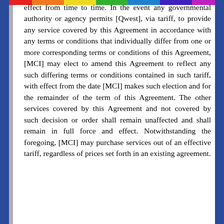effect from time to time. In the event any governmental authority or agency permits [Qwest], via tariff, to provide any service covered by this Agreement in accordance with any terms or conditions that individually differ from one or more corresponding terms or conditions of this Agreement, [MCI] may elect to amend this Agreement to reflect any such differing terms or conditions contained in such tariff, with effect from the date [MCI] makes such election and for the remainder of the term of this Agreement. The other services covered by this Agreement and not covered by such decision or order shall remain unaffected and shall remain in full force and effect. Notwithstanding the foregoing, [MCI] may purchase services out of an effective tariff, regardless of prices set forth in an existing agreement.